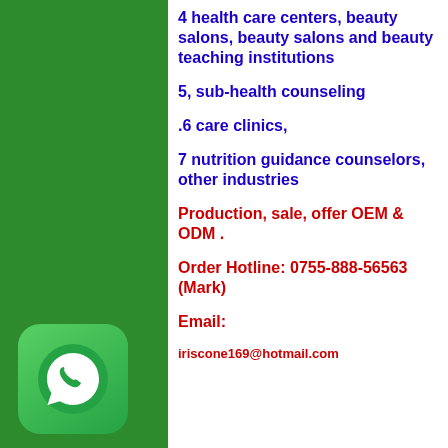4 health care centers, beauty salons, beauty salons and beauty teaching institutions
5, sub-health counseling
.6 care clinics,
7 nutrition guidance counselors, other industries
Production, sale, offer OEM & ODM .
Order Hotline: 0755-888-56563 (Mark)
Email:
iriscone169@hotmail.com
[Figure (logo): WhatsApp logo icon — green rounded square with white phone handset silhouette inside chat bubble]